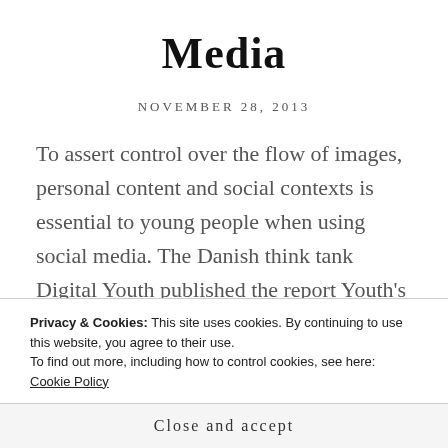Media
NOVEMBER 28, 2013
To assert control over the flow of images, personal content and social contexts is essential to young people when using social media. The Danish think tank Digital Youth published the report Youth's Public and Private Lives on Social Media in November 2013. The report was based on interviews
Privacy & Cookies: This site uses cookies. By continuing to use this website, you agree to their use.
To find out more, including how to control cookies, see here: Cookie Policy
Close and accept